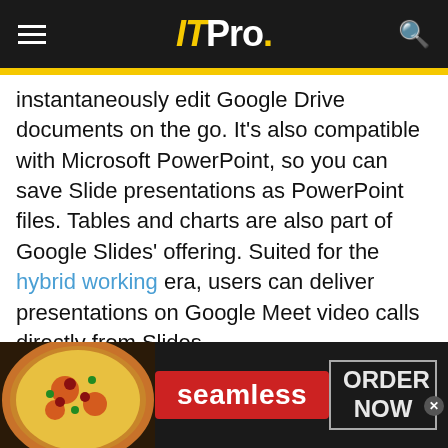ITPro.
instantaneously edit Google Drive documents on the go. It's also compatible with Microsoft PowerPoint, so you can save Slide presentations as PowerPoint files. Tables and charts are also part of Google Slides' offering. Suited for the hybrid working era, users can deliver presentations on Google Meet video calls directly from Slides.
Advertisement - Article continues below
[Figure (photo): Seamless food delivery advertisement banner showing pizza image on the left, Seamless red logo button in the center, and an ORDER NOW button on the right with a close (x) button.]